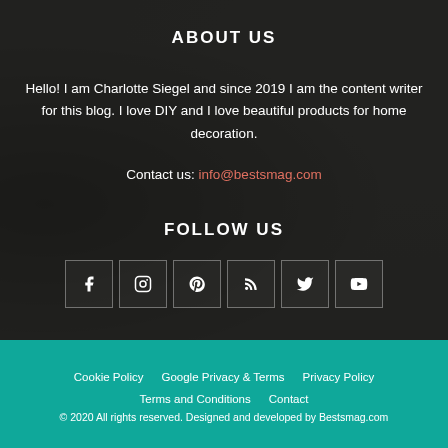ABOUT US
Hello! I am Charlotte Siegel and since 2019 I am the content writer for this blog. I love DIY and I love beautiful products for home decoration.
Contact us: info@bestsmag.com
FOLLOW US
[Figure (infographic): Six social media icon boxes: Facebook, Instagram, Pinterest, RSS, Twitter, YouTube]
Cookie Policy   Google Privacy & Terms   Privacy Policy   Terms and Conditions   Contact
© 2020 All rights reserved. Designed and developed by Bestsmag.com